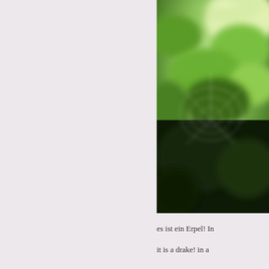[Figure (photo): A blurry close-up photograph of a spider web among green foliage and leaves, with a dark background below. The photo is taken outdoors, showing bokeh green leaves and a delicate web structure.]
es ist ein Erpel! In
it is a drake! in a